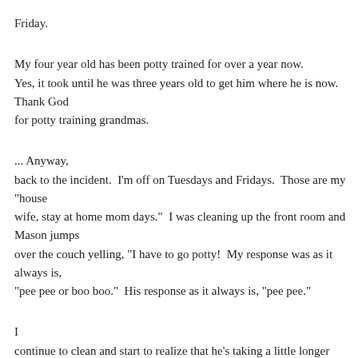Friday.
My four year old has been potty trained for over a year now. Yes, it took until he was three years old to get him where he is now. Thank God for potty training grandmas.
... Anyway, back to the incident.  I'm off on Tuesdays and Fridays.  Those are my "house wife, stay at home mom days."  I was cleaning up the front room and Mason jumps over the couch yelling, "I have to go potty!  My response was as it always is, "pee pee or boo boo."  His response as it always is, "pee pee."
I continue to clean and start to realize that he's taking a little longer than it takes to pee pee.  "Mason," I yell, "are you boo booing?"  "no."  I